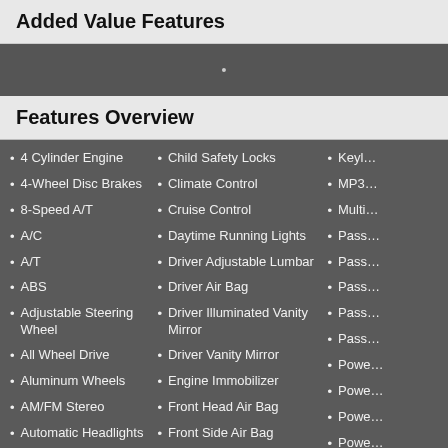Added Value Features
4 Cylinder Engine
4-Wheel Disc Brakes
8-Speed A/T
A/C
A/T
ABS
Adjustable Steering Wheel
All Wheel Drive
Aluminum Wheels
AM/FM Stereo
Automatic Headlights
Auxiliary Audio Input
Back-Up Camera
Blind Spot Monitor
Bluetooth Connection
Brake Assist
Child Safety Locks
Climate Control
Cruise Control
Daytime Running Lights
Driver Adjustable Lumbar
Driver Air Bag
Driver Illuminated Vanity Mirror
Driver Vanity Mirror
Engine Immobilizer
Front Head Air Bag
Front Side Air Bag
Gasoline Fuel
HD Radio
Heated Front Seat
Heated Mirrors
Integrated Turn Signal Mirrors
Keyl…
MP3…
Multi…
Pass…
Powe…
Prem…
Priva…
Rear…